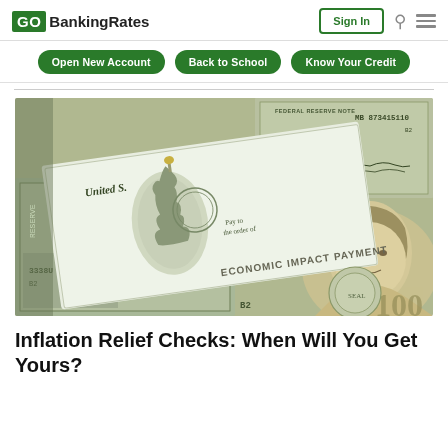GOBankingRates | Sign In
Open New Account | Back to School | Know Your Credit
[Figure (photo): Photo of US stimulus check labeled 'Economic Impact Payment' overlaid on $100 bills showing Benjamin Franklin and Federal Reserve markings.]
Inflation Relief Checks: When Will You Get Yours?